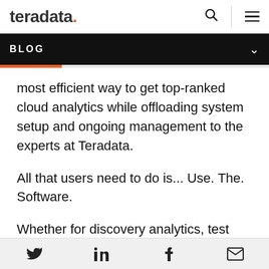teradata.
BLOG
most efficient way to get top-ranked cloud analytics while offloading system setup and ongoing management to the experts at Teradata.
All that users need to do is... Use. The. Software.
Whether for discovery analytics, test and development, quality assurance, disaster recovery, data science, or production, Vantage on
Social share icons: Twitter, LinkedIn, Facebook, Email